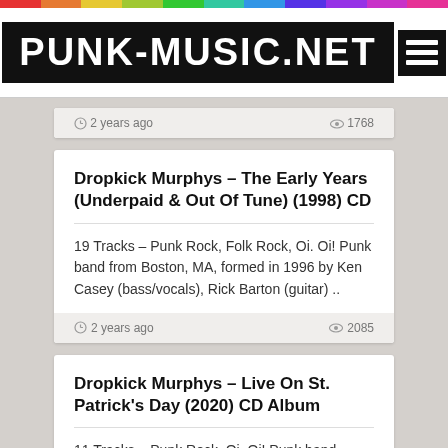PUNK-MUSIC.NET
2 years ago   1768
Dropkick Murphys – The Early Years (Underpaid & Out Of Tune) (1998) CD
19 Tracks – Punk Rock, Folk Rock, Oi. Oi! Punk band from Boston, MA, formed in 1996 by Ken Casey (bass/vocals), Rick Barton (guitar) ..
2 years ago   2085
Dropkick Murphys – Live On St. Patrick's Day (2020) CD Album
11 Tracks – Punk Rock, Oi. Oi! Punk band